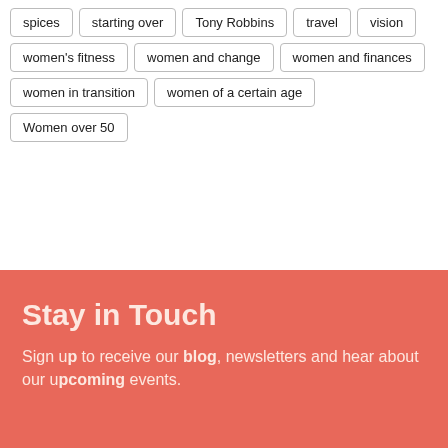spices
starting over
Tony Robbins
travel
vision
women's fitness
women and change
women and finances
women in transition
women of a certain age
Women over 50
Stay in Touch
Sign up to receive our blog, newsletters and hear about our upcoming events.